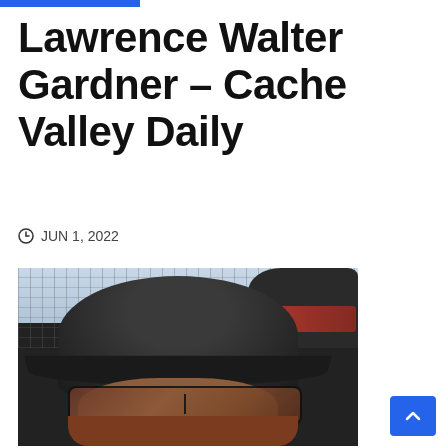Lawrence Walter Gardner – Cache Valley Daily
JUN 1, 2022
[Figure (photo): Close-up photo of a person wearing a black baseball cap and dark sunglasses, taken outdoors near a chain-link fence. Another person is visible in the background.]